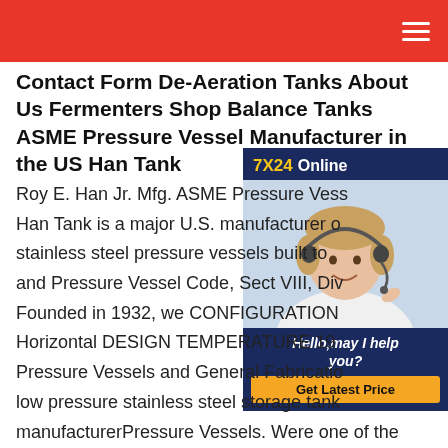Contact Form De-Aeration Tanks About Us Fermenters Shop Balance Tanks ASME Pressure Vessel Manufacturer in the US Han Tank
[Figure (photo): Customer service representative with headset for a 7X24 Online chat widget with 'Hello, may I help you?' text and 'Get Latest Price' button]
Roy E. Han Jr. Mfg. ASME Pressure Vess Han Tank is a major U.S. manufacturer of stainless steel pressure vessels built to and Pressure Vessel Code, Sect VIII, Div Founded in 1932, we CONFIGURATION Horizontal DESIGN TEMPERATURE 19 Pressure Vessels and General Fabricatio low pressure stainless steel storage tank manufacturerPressure Vessels. Were one of the largest privately owned companies in the UK specialising in the mechanical design and manufacturer of carbon steel and stainless steel pressure vessels, drums and columns.